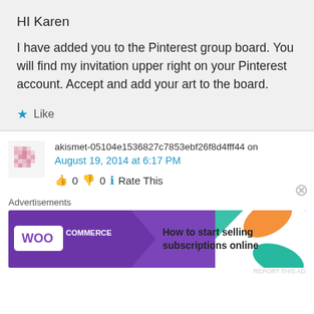HI Karen
I have added you to the Pinterest group board. You will find my invitation upper right on your Pinterest account. Accept and add your art to the board.
★ Like
akismet-05104e1536827c7853ebf26f8d4fff44 on
August 19, 2014 at 6:17 PM
👍 0 👎 0 ℹ️ Rate This
Advertisements
[Figure (infographic): WooCommerce advertisement banner: purple background with WooCommerce logo and arrow shape, text 'How to start selling subscriptions online', decorative orange and teal leaf shapes on the right]